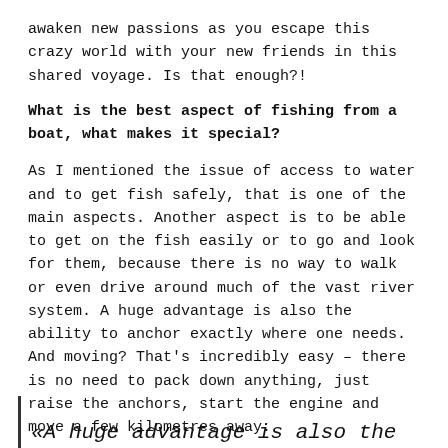awaken new passions as you escape this crazy world with your new friends in this shared voyage. Is that enough?!
What is the best aspect of fishing from a boat, what makes it special?
As I mentioned the issue of access to water and to get fish safely, that is one of the main aspects. Another aspect is to be able to get on the fish easily or to go and look for them, because there is no way to walk or even drive around much of the vast river system. A huge advantage is also the ability to anchor exactly where one needs. And moving? That's incredibly easy – there is no need to pack down anything, just raise the anchors, start the engine and move a few kilometres away.
«A huge advantage is also the